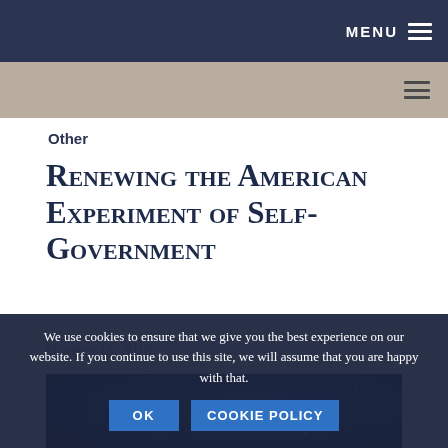MENU ≡
Other
Renewing the American Experiment of Self-Government
October 15, 2016
[Figure (photo): Dark blue technology/network background image with glowing nodes and connections]
We use cookies to ensure that we give you the best experience on our website. If you continue to use this site, we will assume that you are happy with that.